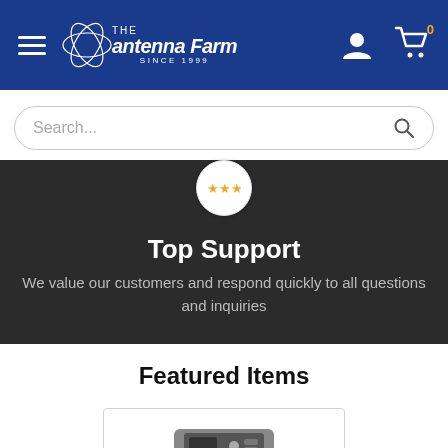The Antenna Farm - Since 1999 | Navigation header with hamburger menu, logo, user icon, and cart (0 items)
Search...
Top Support
We value our customers and respond quickly to all questions and inquiries
Featured Items
[Figure (photo): Partial view of an electronic device (appears to be a radio or communications device) inside a product card with border]